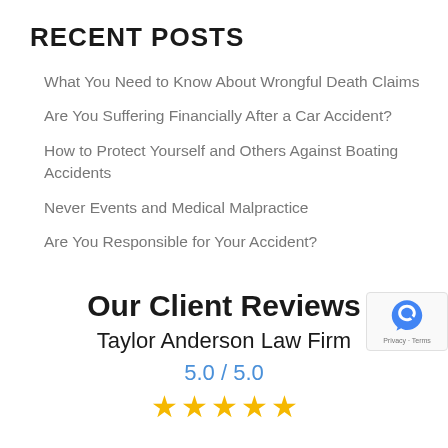RECENT POSTS
What You Need to Know About Wrongful Death Claims
Are You Suffering Financially After a Car Accident?
How to Protect Yourself and Others Against Boating Accidents
Never Events and Medical Malpractice
Are You Responsible for Your Accident?
Our Client Reviews
Taylor Anderson Law Firm
5.0 / 5.0
[Figure (other): Five gold star rating icons]